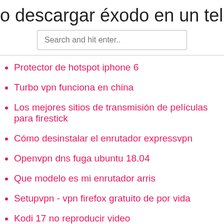o descargar éxodo en un teléfono an
Search and hit enter..
Protector de hotspot iphone 6
Turbo vpn funciona en china
Los mejores sitios de transmisión de películas para firestick
Cómo desinstalar el enrutador expressvpn
Openvpn dns fuga ubuntu 18.04
Que modelo es mi enrutador arris
Setupvpn - vpn firefox gratuito de por vida
Kodi 17 no reproducir video